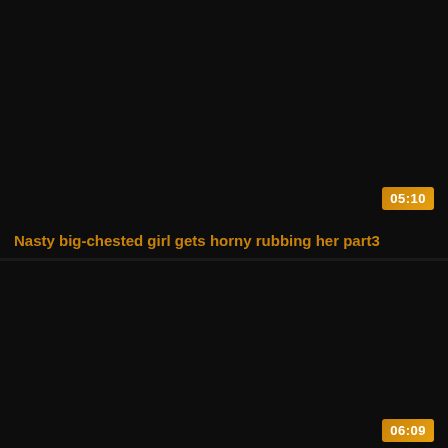[Figure (screenshot): Video thumbnail card — black/dark background with duration badge showing 05:10 and title text 'Nasty big-chested girl gets horny rubbing her part3' in gold/amber color]
[Figure (screenshot): Video thumbnail card — black/dark background with duration badge showing 06:09, no title visible]